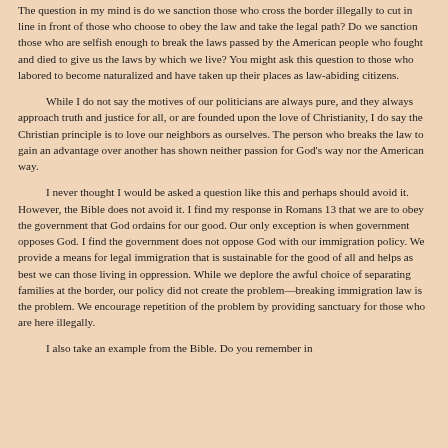The question in my mind is do we sanction those who cross the border illegally to cut in line in front of those who choose to obey the law and take the legal path? Do we sanction those who are selfish enough to break the laws passed by the American people who fought and died to give us the laws by which we live? You might ask this question to those who labored to become naturalized and have taken up their places as law-abiding citizens.
While I do not say the motives of our politicians are always pure, and they always approach truth and justice for all, or are founded upon the love of Christianity, I do say the Christian principle is to love our neighbors as ourselves. The person who breaks the law to gain an advantage over another has shown neither passion for God's way nor the American way.
I never thought I would be asked a question like this and perhaps should avoid it. However, the Bible does not avoid it. I find my response in Romans 13 that we are to obey the government that God ordains for our good. Our only exception is when government opposes God. I find the government does not oppose God with our immigration policy. We provide a means for legal immigration that is sustainable for the good of all and helps as best we can those living in oppression. While we deplore the awful choice of separating families at the border, our policy did not create the problem—breaking immigration law is the problem. We encourage repetition of the problem by providing sanctuary for those who are here illegally.
I also take an example from the Bible. Do you remember in